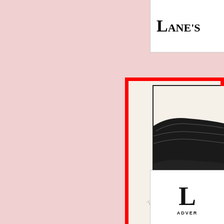Lane's
[Figure (illustration): Partial view of an early 1900s automobile (car), showing the rear wheel, fender, and partial body with folded top. Text 'New York Rep' visible at bottom. Watermark text overlay visible. Red border around the advertisement panel.]
New York Rep
L
ADVER